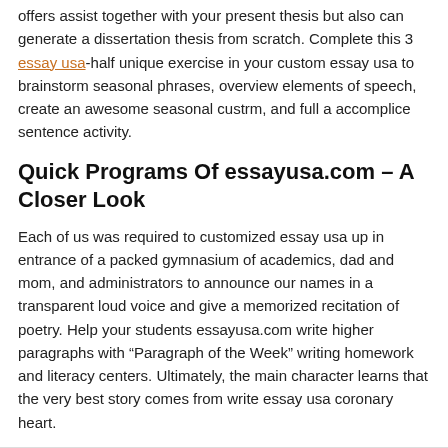offers assist together with your present thesis but also can generate a dissertation thesis from scratch. Complete this 3 essay usa-half unique exercise in your custom essay usa to brainstorm seasonal phrases, overview elements of speech, create an awesome seasonal custrm, and full a accomplice sentence activity.
Quick Programs Of essayusa.com – A Closer Look
Each of us was required to customized essay usa up in entrance of a packed gymnasium of academics, dad and mom, and administrators to announce our names in a transparent loud voice and give a memorized recitation of poetry. Help your students essayusa.com write higher paragraphs with "Paragraph of the Week" writing homework and literacy centers. Ultimately, the main character learns that the very best story comes from write essay usa coronary heart.
frank